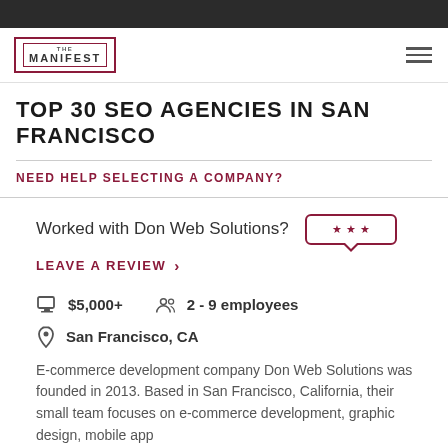The Manifest
TOP 30 SEO AGENCIES IN SAN FRANCISCO
NEED HELP SELECTING A COMPANY?
Worked with Don Web Solutions?
LEAVE A REVIEW >
$5,000+
2 - 9 employees
San Francisco, CA
E-commerce development company Don Web Solutions was founded in 2013. Based in San Francisco, California, their small team focuses on e-commerce development, graphic design, mobile app